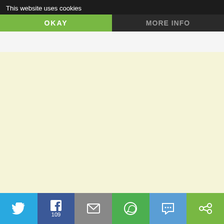This website uses cookies | OKAY | MORE INFO
Sunman says: March 31, 2013 at 2:46 pm
Happy Easter. God bless.
Like
Reply
inavukic says: April 1, 2013 at 12:25 am
To you too, Sunman!
Like
Reply
Twitter | Facebook 109 | Email | WhatsApp | SMS | Share